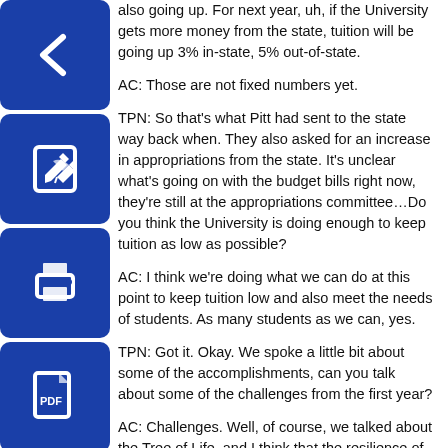also going up. For next year, uh, if the University gets more money from the state, tuition will be going up 3% in-state, 5% out-of-state.
AC: Those are not fixed numbers yet.
TPN: So that's what Pitt had sent to the state way back when. They also asked for an increase in appropriations from the state. It's unclear what's going on with the budget bills right now, they're still at the appropriations committee…Do you think the University is doing enough to keep tuition as low as possible?
AC: I think we're doing what we can do at this point to keep tuition low and also meet the needs of students. As many students as we can, yes.
TPN: Got it. Okay. We spoke a little bit about some of the accomplishments, can you talk about some of the challenges from the first year?
AC: Challenges. Well, of course, we talked about the Tree of Life, and I think that the resilience of the community was pretty amazing to bounce back from that. I think that it's always a challenge to make sure that our faculty and staff feel like they're properly rewarded and incentivized and all of that — that's just the natural course of things. So working hard on all of those